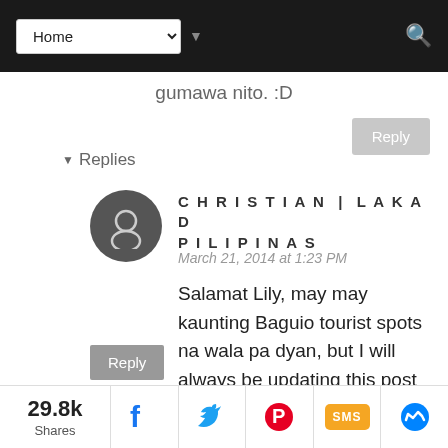Home (navigation dropdown)
gumawa nito. :D
▾ Replies
CHRISTIAN | LAKAD PILIPINAS
March 21, 2014 at 1:23 PM
Salamat Lily, may may kaunting Baguio tourist spots na wala pa dyan, but I will always be updating this post for those :)
Reply
29.8k Shares | Facebook | Twitter | Pinterest | SMS | Messenger